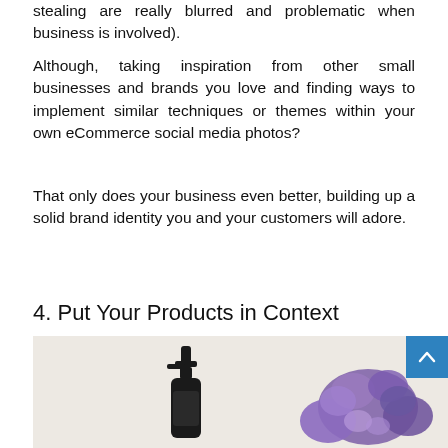stealing are really blurred and problematic when business is involved).
Although, taking inspiration from other small businesses and brands you love and finding ways to implement similar techniques or themes within your own eCommerce social media photos?
That only does your business even better, building up a solid brand identity you and your customers will adore.
4. Put Your Products in Context
[Figure (photo): A product photo showing a dark pump-top bottle and purple flowers on a beige/cream background, with a blue scroll-to-top button in the upper right corner.]